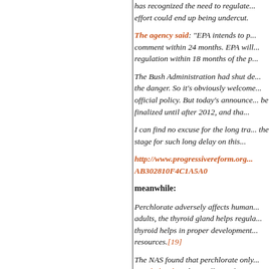has recognized the need to regulate... effort could end up being undercut.
The agency said: "EPA intends to p... comment within 24 months. EPA will... regulation within 18 months of the p..."
The Bush Administration had shut de... the danger. So it's obviously welcome... official policy. But today's announce... be finalized until after 2012, and tha...
I can find no excuse for the long tra... the stage for such long delay on this...
http://www.progressivereform.org... AB302810F4C1A5A0
meanwhile:
Perchlorate adversely affects human... adults, the thyroid gland helps regula... thyroid helps in proper development... resources.[19]
The NAS found that perchlorate only... metabolized, and any effects of per... [20] There has been some concern... several peer-reviewed studies on ch...